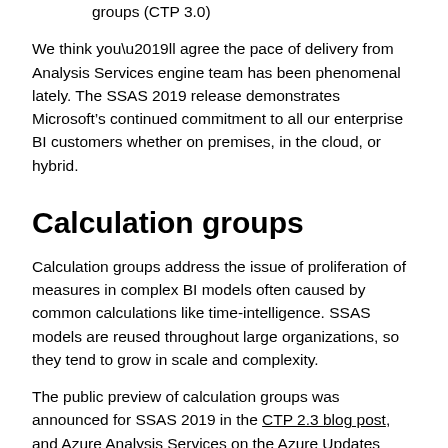groups (CTP 3.0)
We think you’ll agree the pace of delivery from Analysis Services engine team has been phenomenal lately. The SSAS 2019 release demonstrates Microsoft’s continued commitment to all our enterprise BI customers whether on premises, in the cloud, or hybrid.
Calculation groups
Calculation groups address the issue of proliferation of measures in complex BI models often caused by common calculations like time-intelligence. SSAS models are reused throughout large organizations, so they tend to grow in scale and complexity.
The public preview of calculation groups was announced for SSAS 2019 in the CTP 2.3 blog post, and Azure Analysis Services on the Azure Updates blog. Calculation groups will